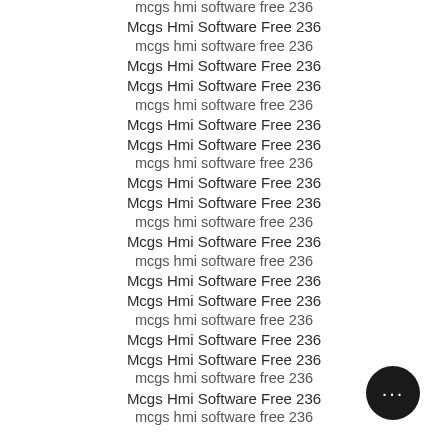mcgs hmi software free 236
Mcgs Hmi Software Free 236
mcgs hmi software free 236
Mcgs Hmi Software Free 236
Mcgs Hmi Software Free 236
mcgs hmi software free 236
Mcgs Hmi Software Free 236
Mcgs Hmi Software Free 236
mcgs hmi software free 236
Mcgs Hmi Software Free 236
Mcgs Hmi Software Free 236
mcgs hmi software free 236
Mcgs Hmi Software Free 236
mcgs hmi software free 236
Mcgs Hmi Software Free 236
Mcgs Hmi Software Free 236
mcgs hmi software free 236
Mcgs Hmi Software Free 236
Mcgs Hmi Software Free 236
mcgs hmi software free 236
Mcgs Hmi Software Free 236
mcgs hmi software free 236